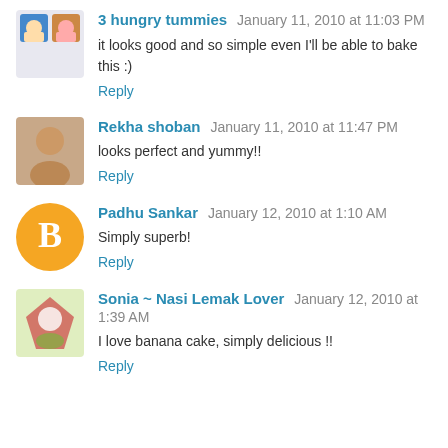3 hungry tummies January 11, 2010 at 11:03 PM
it looks good and so simple even I'll be able to bake this :)
Reply
Rekha shoban January 11, 2010 at 11:47 PM
looks perfect and yummy!!
Reply
Padhu Sankar January 12, 2010 at 1:10 AM
Simply superb!
Reply
Sonia ~ Nasi Lemak Lover January 12, 2010 at 1:39 AM
I love banana cake, simply delicious !!
Reply